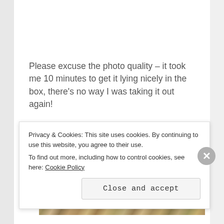Please excuse the photo quality – it took me 10 minutes to get it lying nicely in the box, there's no way I was taking it out again!
I also finished up the ginger bootees this week and gifted them to my friend.
[Figure (photo): Partial view of a photograph showing a textured surface, appears to be yarn or fabric on a carpet/rug background]
Privacy & Cookies: This site uses cookies. By continuing to use this website, you agree to their use. To find out more, including how to control cookies, see here: Cookie Policy
Close and accept